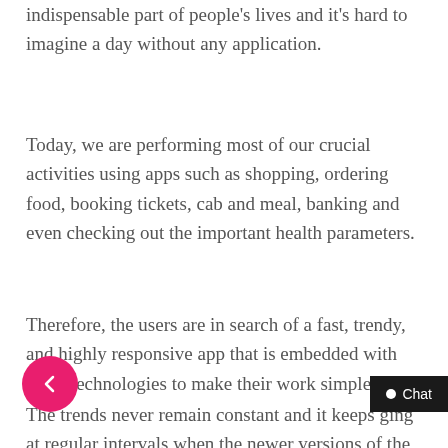indispensable part of people's lives and it's hard to imagine a day without any application.
Today, we are performing most of our crucial activities using apps such as shopping, ordering food, booking tickets, cab and meal, banking and even checking out the important health parameters.
Therefore, the users are in search of a fast, trendy, and highly responsive app that is embedded with latest technologies to make their work simpler.
The trends never remain constant and it keeps ging at regular intervals when the newer versions of the Operating System or app upd…